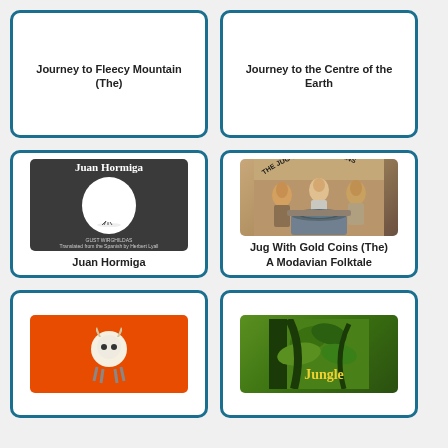[Figure (illustration): Book card for 'Journey to Fleecy Mountain (The)' - white card with blue border, no cover image shown, title text only]
Journey to Fleecy Mountain (The)
[Figure (illustration): Book card for 'Journey to the Centre of the Earth' - white card with blue border, no cover image shown, title text only]
Journey to the Centre of the Earth
[Figure (illustration): Book card for 'Juan Hormiga' - dark cover showing white circle with ant illustration, author text at bottom]
Juan Hormiga
[Figure (illustration): Book card for 'Jug With Gold Coins (The) A Modavian Folktale' - cover showing three figures around a large jug/well]
Jug With Gold Coins (The) A Modavian Folktale
[Figure (illustration): Partial book card at bottom left - orange cover with cartoon sheep/character]
[Figure (illustration): Partial book card at bottom right - green jungle themed cover with 'Jungle' text]